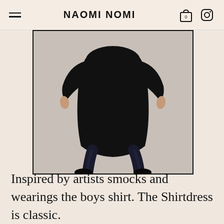NAOMI NOMI
[Figure (photo): A model wearing an oversized black shirtdress with black leather pants and black chunky loafers, photographed from mid-torso down against a light grey background, inside a thin black border frame.]
Inspired by artists smocks and wearings the boys shirt. The Shirtdress is classic.